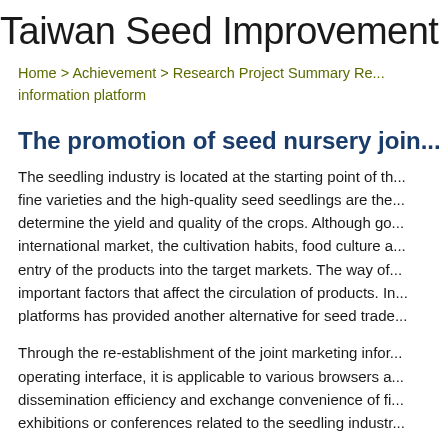Taiwan Seed Improvement
Home > Achievement > Research Project Summary Re... information platform
The promotion of seed nursery join...
The seedling industry is located at the starting point of th... fine varieties and the high-quality seed seedlings are the... determine the yield and quality of the crops. Although go... international market, the cultivation habits, food culture a... entry of the products into the target markets. The way of... important factors that affect the circulation of products. In... platforms has provided another alternative for seed trade...
Through the re-establishment of the joint marketing infor... operating interface, it is applicable to various browsers a... dissemination efficiency and exchange convenience of fi... exhibitions or conferences related to the seedling industr...